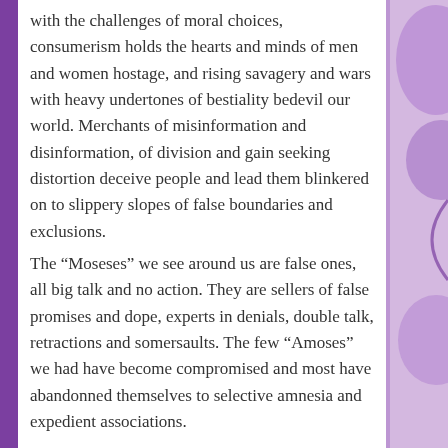with the challenges of moral choices, consumerism holds the hearts and minds of men and women hostage, and rising savagery and wars with heavy undertones of bestiality bedevil our world. Merchants of misinformation and disinformation, of division and gain seeking distortion deceive people and lead them blinkered on to slippery slopes of false boundaries and exclusions.
The “Moseses” we see around us are false ones, all big talk and no action. They are sellers of false promises and dope, experts in denials, double talk, retractions and somersaults. The few “Amoses” we had have become compromised and most have abandonned themselves to selective amnesia and expedient associations.
We are in the desert. The desert seeks to invade us with its aridity and sterility.
Yes, these are hard times, but we must hang on there in